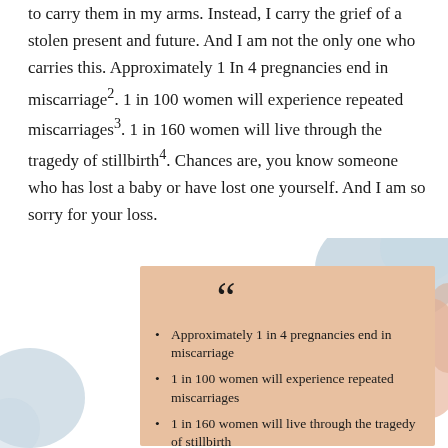to carry them in my arms. Instead, I carry the grief of a stolen present and future. And I am not the only one who carries this. Approximately 1 In 4 pregnancies end in miscarriage². 1 in 100 women will experience repeated miscarriages³. 1 in 160 women will live through the tragedy of stillbirth⁴. Chances are, you know someone who has lost a baby or have lost one yourself. And I am so sorry for your loss.
[Figure (infographic): Decorative infographic with a peach/tan card overlay on a soft watercolor background (blue and pink/peach tones). Large opening quotation marks at top center. Three bullet points listing pregnancy loss statistics: Approximately 1 in 4 pregnancies end in miscarriage; 1 in 100 women will experience repeated miscarriages; 1 in 160 women will live through the tragedy of stillbirth.]